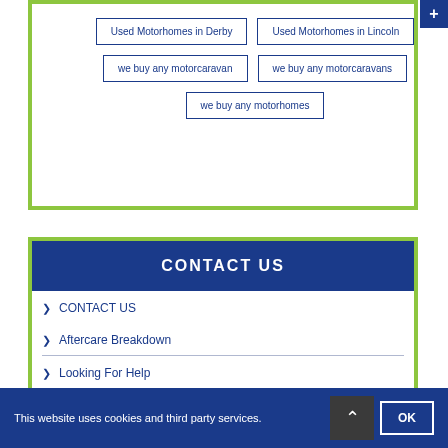Used Motorhomes in Derby
Used Motorhomes in Lincoln
we buy any motorcaravan
we buy any motorcaravans
we buy any motorhomes
CONTACT US
CONTACT US
Aftercare Breakdown
Looking For Help
Our Services
This website uses cookies and third party services.